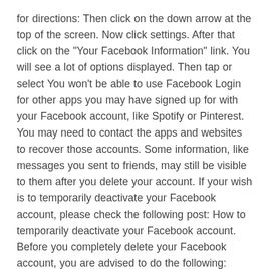for directions: Then click on the down arrow at the top of the screen. Now click settings. After that click on the "Your Facebook Information" link. You will see a lot of options displayed. Then tap or select You won't be able to use Facebook Login for other apps you may have signed up for with your Facebook account, like Spotify or Pinterest. You may need to contact the apps and websites to recover those accounts. Some information, like messages you sent to friends, may still be visible to them after you delete your account. If your wish is to temporarily deactivate your Facebook account, please check the following post: How to temporarily deactivate your Facebook account. Before you completely delete your Facebook account, you are advised to do the following: Save your important photos, videos and text messages; Inform your closely friends and relatives Jun 25, 2019 · To temporarily deactivate your Facebook account, all you have to do is log onto your profile on desktop then follow these steps: Click the account menu down arrow at the top right of any Facebook Jun